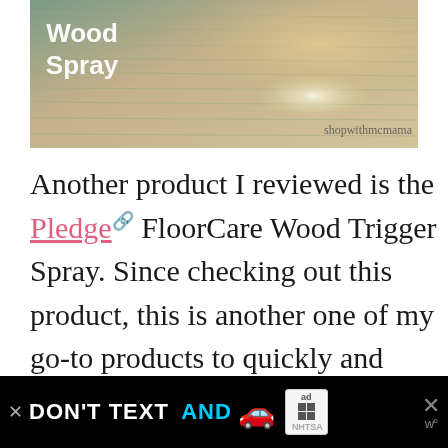[Figure (photo): Close-up photograph of wood floor planks with text overlay reading 'Wood Spray' in white on the left side, and watermark 'shopwithmcmama' in lower right.]
Another product I reviewed is the Pledge FloorCare Wood Trigger Spray. Since checking out this product, this is another one of my go-to products to quickly and efficiently c[...]
[Figure (screenshot): Advertisement banner with black background reading 'DON'T TEXT AND [car emoji]' with ad badge showing 'ad' and NHTSA logo, with close buttons.]